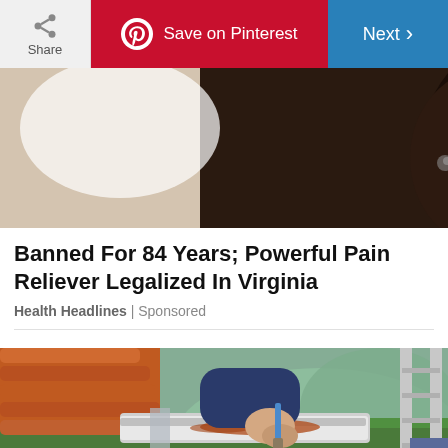[Figure (screenshot): Toolbar with Share button, Save on Pinterest button (red), and Next button (blue)]
[Figure (photo): Close-up photo of a dark-skinned person's face, slightly blurred background]
Banned For 84 Years; Powerful Pain Reliever Legalized In Virginia
Health Headlines | Sponsored
[Figure (photo): Person on a ladder painting or cleaning a gutter on a house, with green garden in background]